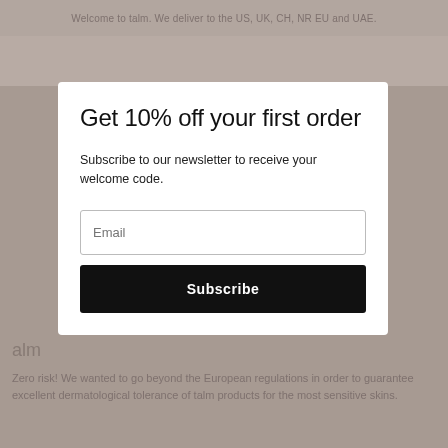Welcome to talm. We deliver to the US, UK, CH, NR EU and UAE.
Get 10% off your first order
Subscribe to our newsletter to receive your welcome code.
Email
Subscribe
charter
The black list of talm ingredients
alm
Zero risk! We wanted to go beyond the European regulations in order to guarantee excellent dermatological tolerance of talm products for the most sensitive skins.